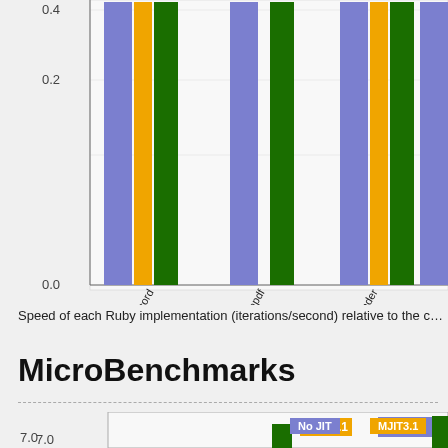[Figure (grouped-bar-chart): Speed of each Ruby implementation (iterations/second) relative to the ...]
Speed of each Ruby implementation (iterations/second) relative to the ...
MicroBenchmarks
[Figure (grouped-bar-chart): MicroBenchmarks]